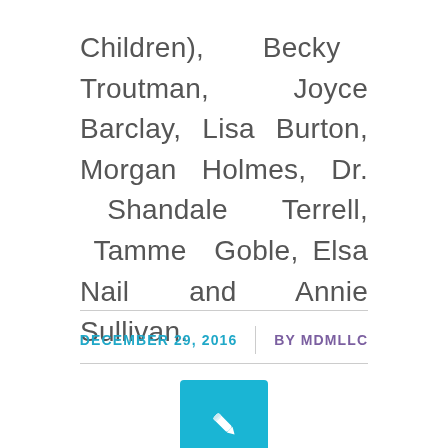Children), Becky Troutman, Joyce Barclay, Lisa Burton, Morgan Holmes, Dr. Shandale Terrell, Tamme Goble, Elsa Nail and Annie Sullivan.
DECEMBER 29, 2016 | BY MDMLLC
[Figure (illustration): Teal/cyan square icon with a white pencil/edit symbol in the center]
NEWS
IRS Sheds…